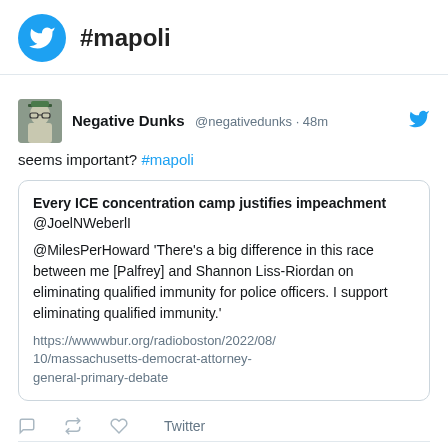#mapoli
Negative Dunks @negativedunks · 48m
seems important? #mapoli
Every ICE concentration camp justifies impeachment @JoelNWeberlI @MilesPerHoward 'There's a big difference in this race between me [Palfrey] and Shannon Liss-Riordan on eliminating qualified immunity for police officers. I support eliminating qualified immunity.' https://wwwwbur.org/radioboston/2022/08/10/massachusetts-democrat-attorney-general-primary-debate
Twitter